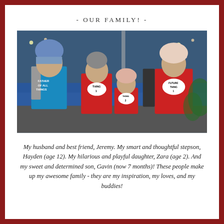- OUR FAMILY! -
[Figure (photo): Family photo of four people dressed in Dr. Seuss themed costumes. A man in a blue 'Father of All Things' shirt and colorful beanie hat, a boy in a red 'Thing 1' shirt, a baby in a red 'Thing 2' outfit, and a woman in a red 'Future Thing' shirt with a fuzzy white hat, standing outdoors in what appears to be a shopping district decorated with Christmas lights.]
My husband and best friend, Jeremy. My smart and thoughtful stepson, Hayden (age 12). My hilarious and playful daughter, Zara (age 2). And my sweet and determined son, Gavin (now 7 months)! These people make up my awesome family - they are my inspiration, my loves, and my buddies!